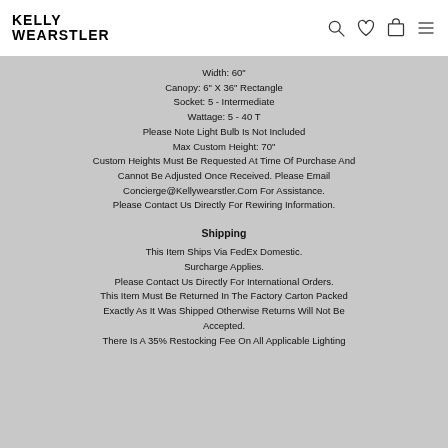[Figure (logo): Kelly Wearstler logo — bold sans-serif stacked text]
Width: 60"
Canopy: 6" X 36" Rectangle
Socket: 5 - Intermediate
Wattage: 5 - 40 T
Please Note Light Bulb Is Not Included
Max Custom Height: 70"
Custom Heights Must Be Requested At Time Of Purchase And Cannot Be Adjusted Once Received. Please Email Concierge@Kellywearstler.Com For Assistance.
Please Contact Us Directly For Rewiring Information.
Shipping
This Item Ships Via FedEx Domestic.
Surcharge Applies.
Please Contact Us Directly For International Orders.
This Item Must Be Returned In The Factory Carton Packed Exactly As It Was Shipped Otherwise Returns Will Not Be Accepted.
There Is A 35% Restocking Fee On All Applicable Lighting